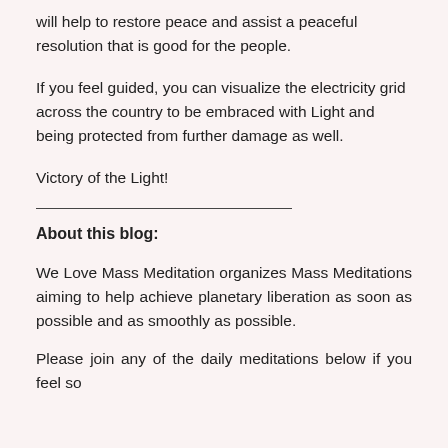will help to restore peace and assist a peaceful resolution that is good for the people.
If you feel guided, you can visualize the electricity grid across the country to be embraced with Light and being protected from further damage as well.
Victory of the Light!
About this blog:
We Love Mass Meditation organizes Mass Meditations aiming to help achieve planetary liberation as soon as possible and as smoothly as possible.
Please join any of the daily meditations below if you feel so